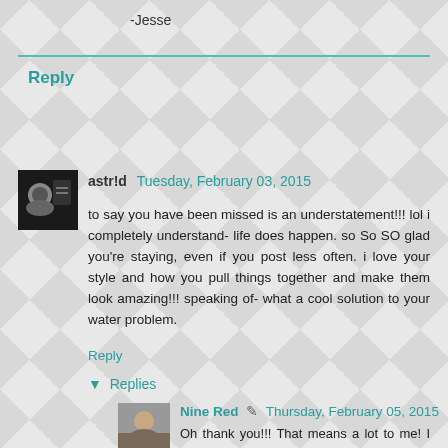-Jesse
Reply
astr!d  Tuesday, February 03, 2015
to say you have been missed is an understatement!!! lol i completely understand- life does happen. so So SO glad you're staying, even if you post less often. i love your style and how you pull things together and make them look amazing!!! speaking of- what a cool solution to your water problem.
Reply
▼  Replies
Nine Red  ✏  Thursday, February 05, 2015
Oh thank you!!! That means a lot to me! I love when I see a comment come through from you! Yea, the wheelbarrow is still working out great,